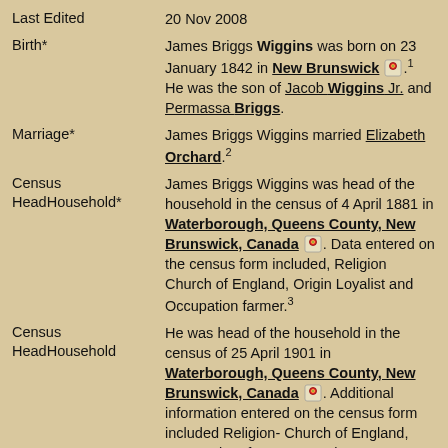Last Edited   20 Nov 2008
Birth*   James Briggs Wiggins was born on 23 January 1842 in New Brunswick. He was the son of Jacob Wiggins Jr. and Permassa Briggs.
Marriage*   James Briggs Wiggins married Elizabeth Orchard.2
Census HeadHousehold*   James Briggs Wiggins was head of the household in the census of 4 April 1881 in Waterborough, Queens County, New Brunswick, Canada. Data entered on the census form included, Religion Church of England, Origin Loyalist and Occupation farmer.3
Census HeadHousehold   He was head of the household in the census of 25 April 1901 in Waterborough, Queens County, New Brunswick, Canada. Additional information entered on the census form included Religion- Church of England, Occupation- farmer, son Hiram was a general labourer.1
(Witness) Census   He was enumerated on the census of